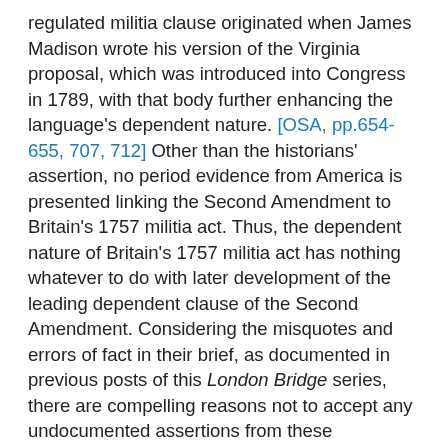regulated militia clause originated when James Madison wrote his version of the Virginia proposal, which was introduced into Congress in 1789, with that body further enhancing the language's dependent nature. [OSA, pp.654-655, 707, 712] Other than the historians' assertion, no period evidence from America is presented linking the Second Amendment to Britain's 1757 militia act. Thus, the dependent nature of Britain's 1757 militia act has nothing whatever to do with later development of the leading dependent clause of the Second Amendment. Considering the misquotes and errors of fact in their brief, as documented in previous posts of this London Bridge series, there are compelling reasons not to accept any undocumented assertions from these professional historians regarding Second Amendment history or intent. Every such claim requires careful examination, and any without supporting period documentation cannot be relied upon.
The historians' claim is that the British act and Second Amendment have similarities of meaning, not just of structure and terminology. But a militia act of Britain could not have the same intent as an American Bill of Rights